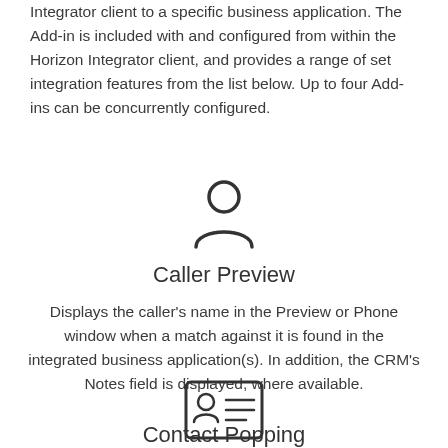Integrator client to a specific business application. The Add-in is included with and configured from within the Horizon Integrator client, and provides a range of set integration features from the list below. Up to four Add-ins can be concurrently configured.
[Figure (illustration): Person/user silhouette icon — outline of a head and shoulders]
Caller Preview
Displays the caller's name in the Preview or Phone window when a match against it is found in the integrated business application(s). In addition, the CRM's Notes field is displayed, where available.
[Figure (illustration): Contact card icon — rectangle with a person silhouette and horizontal lines representing text]
Contact Popping